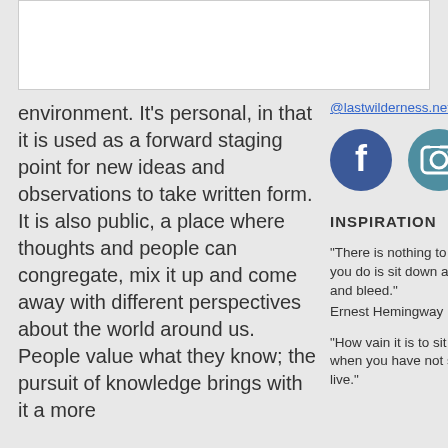environment. It's personal, in that it is used as a forward staging point for new ideas and observations to take written form. It is also public, a place where thoughts and people can congregate, mix it up and come away with different perspectives about the world around us. People value what they know; the pursuit of knowledge brings with it a more
@lastwilderness.net
[Figure (illustration): Facebook and Instagram social media icons as circular buttons]
INSPIRATION
“There is nothing to writing. All you do is sit down at a typewriter and bleed.” Ernest Hemingway
“How vain it is to sit down to write when you have not stood up to live.”